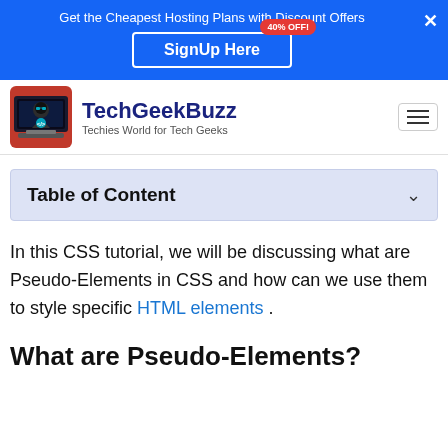Get the Cheapest Hosting Plans with Discount Offers
SignUp Here
40% OFF!
[Figure (logo): TechGeekBuzz logo: hacker with laptop icon in red/dark background]
TechGeekBuzz
Techies World for Tech Geeks
Table of Content
In this CSS tutorial, we will be discussing what are Pseudo-Elements in CSS and how can we use them to style specific HTML elements .
What are Pseudo-Elements?